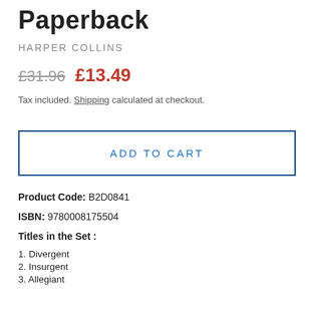Paperback
HARPER COLLINS
£31.96  £13.49
Tax included. Shipping calculated at checkout.
ADD TO CART
Product Code: B2D0841
ISBN: 9780008175504
Titles in the Set :
1. Divergent
2. Insurgent
3. Allegiant